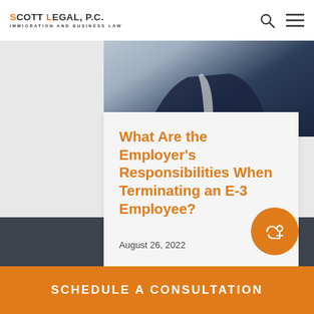SCOTT LEGAL, P.C. IMMIGRATION AND BUSINESS LAW
[Figure (photo): Partial photo showing a dark navy blazer/jacket against a light background]
What Are the Employer's Responsibilities When Terminating an E-3 Employee?
August 26, 2022
SCHEDULE A CONSULTATION